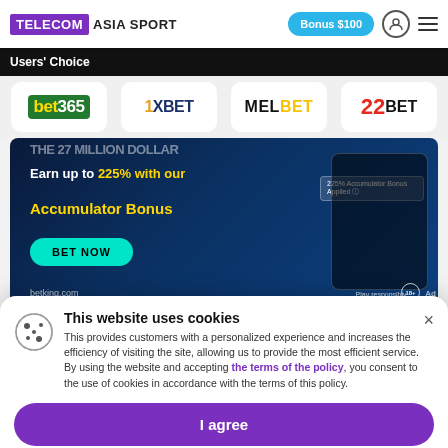TELECOM ASIA SPORT | Bonus $100
Users' Choice
[Figure (logo): Users Choice logos: bet365, 1XBET, MELBET, 22BET]
[Figure (photo): BetKing advertisement banner: Earn up to 225% with our Accumulator Bonus. BET NOW button. betking.com. Play responsibly. 18+ Ad.]
[Figure (screenshot): Partial sports betting score row showing PSG logo, odds O: 1,92, and Juventus logo]
This website uses cookies
This provides customers with a personalized experience and increases the efficiency of visiting the site, allowing us to provide the most efficient service. By using the website and accepting the terms of the policy, you consent to the use of cookies in accordance with the terms of this policy.
I agree